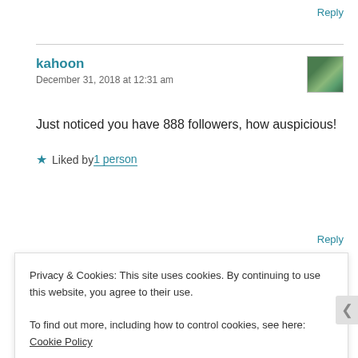Reply
kahoon
December 31, 2018 at 12:31 am
Just noticed you have 888 followers, how auspicious!
★ Liked by 1 person
Reply
Privacy & Cookies: This site uses cookies. By continuing to use this website, you agree to their use.
To find out more, including how to control cookies, see here: Cookie Policy
Close and accept